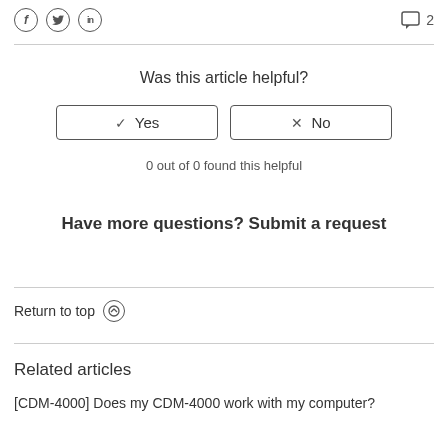[Figure (other): Social media icons: Facebook (f), Twitter (bird/t), LinkedIn (in) as circles]
2 (comment icon)
Was this article helpful?
✓ Yes
✕ No
0 out of 0 found this helpful
Have more questions? Submit a request
Return to top ↑
Related articles
[CDM-4000] Does my CDM-4000 work with my computer?